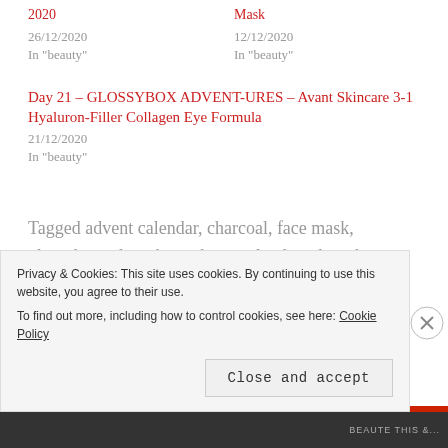2020
Mask
26/12/2020
12/12/2020
In "beauty"
In "beauty"
Day 21 – GLOSSYBOX ADVENT-URES – Avant Skincare 3-1 Hyaluron-Filler Collagen Eye Formula
21/12/2020
In "beauty"
Tagged advent calendar, charcoal, face mask, glossybox, glossybox advent calendar, glossybox adventures, glow mask, himalayan, mask, thebody shop, Unboxing
Privacy & Cookies: This site uses cookies. By continuing to use this website, you agree to their use. To find out more, including how to control cookies, see here: Cookie Policy
Close and accept